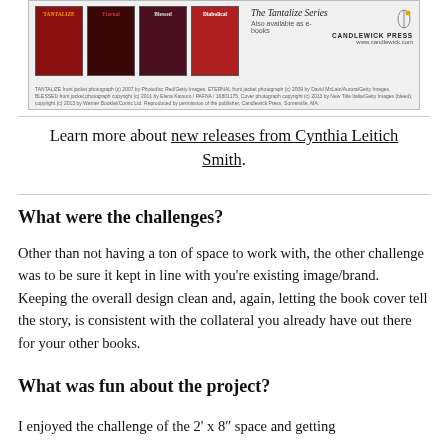[Figure (photo): Advertisement image for The Tantalize Series by Candlewick Press showing four book covers: Tantalize, Eternal, Blessed, Diabolical. Text says 'Also available as e-books'. Candlewick Press logo and website www.candlewick.com shown. Photo credits below.]
Learn more about new releases from Cynthia Leitich Smith.
What were the challenges?
Other than not having a ton of space to work with, the other challenge was to be sure it kept in line with you're existing image/brand. Keeping the overall design clean and, again, letting the book cover tell the story, is consistent with the collateral you already have out there for your other books.
What was fun about the project?
I enjoyed the challenge of the 2' x 8" space and getting